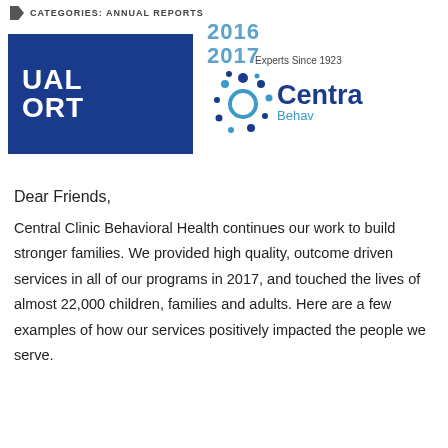CATEGORIES: ANNUAL REPORTS
[Figure (logo): Annual Report 2016-2017 banner with dark blue background showing 'UAL 2016 ORT 2017' text on left, and Central Clinic Behavioral Health logo on right with dots/circles graphic, 'Experts Since 1923' tagline]
Dear Friends,
Central Clinic Behavioral Health continues our work to build stronger families. We provided high quality, outcome driven services in all of our programs in 2017, and touched the lives of almost 22,000 children, families and adults. Here are a few examples of how our services positively impacted the people we serve.